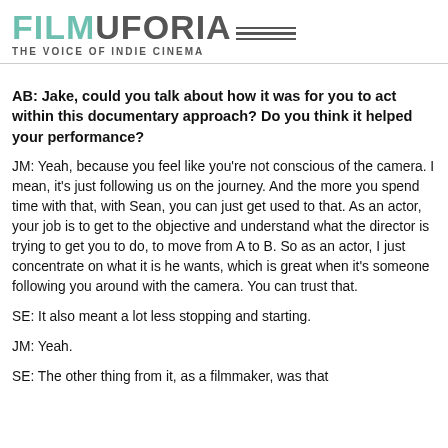FILMUFORIA — THE VOICE OF INDIE CINEMA
AB: Jake, could you talk about how it was for you to act within this documentary approach? Do you think it helped your performance?
JM: Yeah, because you feel like you're not conscious of the camera. I mean, it's just following us on the journey. And the more you spend time with that, with Sean, you can just get used to that. As an actor, your job is to get to the objective and understand what the director is trying to get you to do, to move from A to B. So as an actor, I just concentrate on what it is he wants, which is great when it's someone following you around with the camera. You can trust that.
SE: It also meant a lot less stopping and starting.
JM: Yeah.
SE: The other thing from it, as a filmmaker, was that...